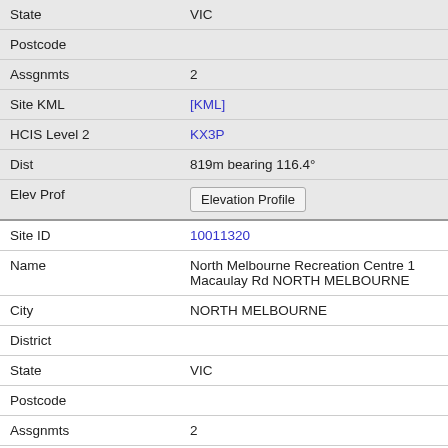| Field | Value |
| --- | --- |
| State | VIC |
| Postcode |  |
| Assgnmts | 2 |
| Site KML | [KML] |
| HCIS Level 2 | KX3P |
| Dist | 819m bearing 116.4° |
| Elev Prof | Elevation Profile |
| Site ID | 10011320 |
| Name | North Melbourne Recreation Centre 1 Macaulay Rd NORTH MELBOURNE |
| City | NORTH MELBOURNE |
| District |  |
| State | VIC |
| Postcode |  |
| Assgnmts | 2 |
| Site KML | [KML] |
| HCIS Level 2 | KX3P |